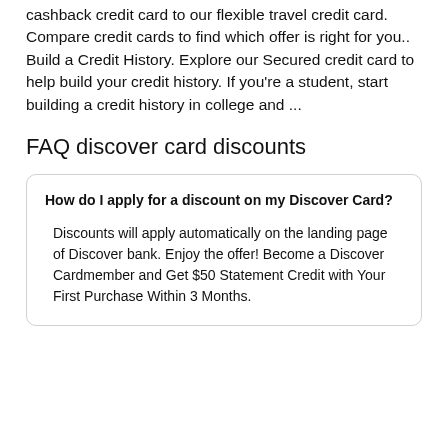cashback credit card to our flexible travel credit card. Compare credit cards to find which offer is right for you.. Build a Credit History. Explore our Secured credit card to help build your credit history. If you're a student, start building a credit history in college and ...
FAQ discover card discounts
How do I apply for a discount on my Discover Card?
Discounts will apply automatically on the landing page of Discover bank. Enjoy the offer! Become a Discover Cardmember and Get $50 Statement Credit with Your First Purchase Within 3 Months.